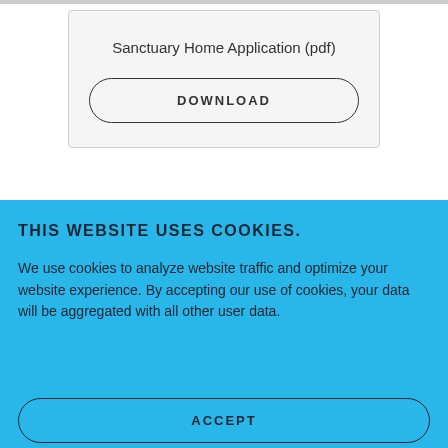Sanctuary Home Application (pdf)
DOWNLOAD
THIS WEBSITE USES COOKIES.
We use cookies to analyze website traffic and optimize your website experience. By accepting our use of cookies, your data will be aggregated with all other user data.
ACCEPT